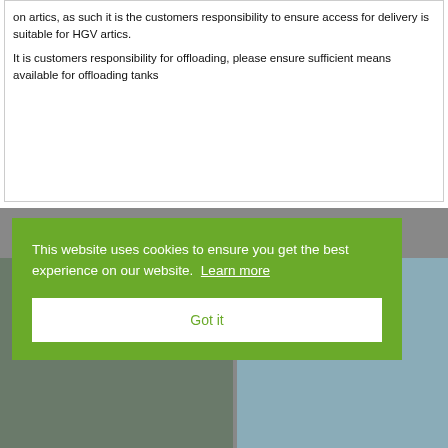on artics, as such it is the customers responsibility to ensure access for delivery is suitable for HGV artics.
It is customers responsibility for offloading, please ensure sufficient means available for offloading tanks
This website uses cookies to ensure you get the best experience on our website. Learn more
Got it
[Figure (photo): Two photos side by side showing industrial/warehouse items, partially visible behind cookie banner overlay]